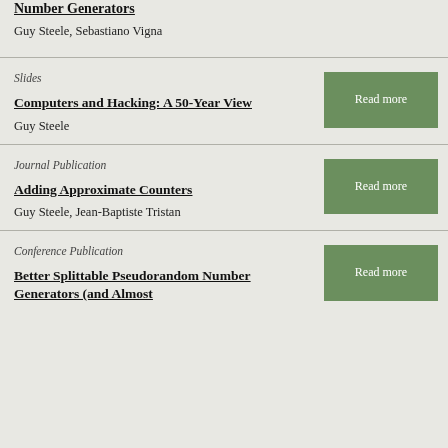Number Generators
Guy Steele, Sebastiano Vigna
Slides
Computers and Hacking: A 50-Year View
Guy Steele
Journal Publication
Adding Approximate Counters
Guy Steele, Jean-Baptiste Tristan
Conference Publication
Better Splittable Pseudorandom Number Generators (and Almost